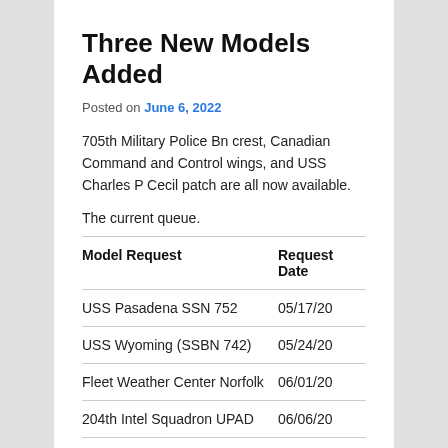Three New Models Added
Posted on June 6, 2022
705th Military Police Bn crest, Canadian Command and Control wings, and USS Charles P Cecil patch are all now available.
The current queue.
| Model Request | Request Date |
| --- | --- |
| USS Pasadena SSN 752 | 05/17/20 |
| USS Wyoming (SSBN 742) | 05/24/20 |
| Fleet Weather Center Norfolk | 06/01/20 |
| 204th Intel Squadron UPAD | 06/06/20 |
| Commander Fleet Air | 07/01/20 |